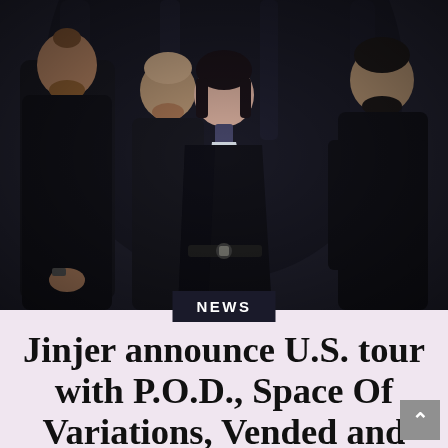[Figure (photo): Four members of the band Jinjer posing in front of a dark stone/tree bark background. Three men and one woman (center front). All wearing black outfits. The woman has a tattooed neck and is wearing a black jacket with a white shirt underneath.]
NEWS
Jinjer announce U.S. tour with P.O.D., Space Of Variations, Vended and